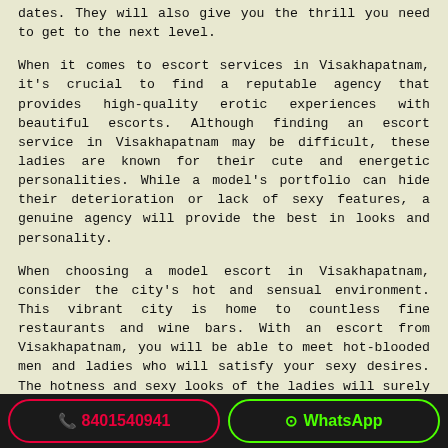dates. They will also give you the thrill you need to get to the next level.
When it comes to escort services in Visakhapatnam, it's crucial to find a reputable agency that provides high-quality erotic experiences with beautiful escorts. Although finding an escort service in Visakhapatnam may be difficult, these ladies are known for their cute and energetic personalities. While a model's portfolio can hide their deterioration or lack of sexy features, a genuine agency will provide the best in looks and personality.
When choosing a model escort in Visakhapatnam, consider the city's hot and sensual environment. This vibrant city is home to countless fine restaurants and wine bars. With an escort from Visakhapatnam, you will be able to meet hot-blooded men and ladies who will satisfy your sexy desires. The hotness and sexy looks of the ladies will surely make you feel like a prince!
Choosing a model escort in Visakhapatnam is an incredible idea for those who love to have sex but aren't certain how to have it.
📞 8401540941   WhatsApp